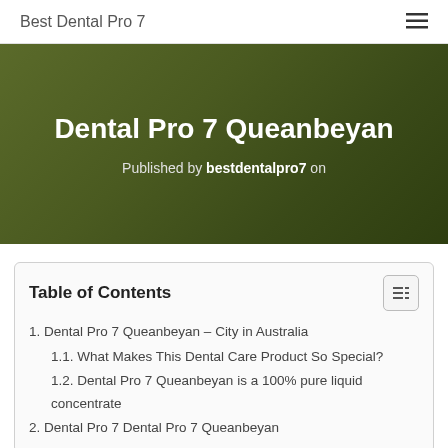Best Dental Pro 7
Dental Pro 7 Queanbeyan
Published by bestdentalpro7 on
Table of Contents
1. Dental Pro 7 Queanbeyan – City in Australia
1.1. What Makes This Dental Care Product So Special?
1.2. Dental Pro 7 Queanbeyan is a 100% pure liquid concentrate
2. Dental Pro 7 Dental Pro 7 Queanbeyan